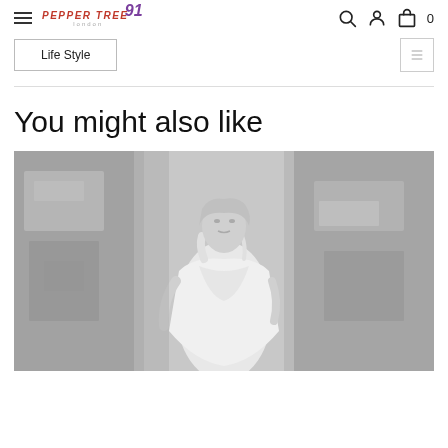Pepper Tree London — Navigation bar with logo, search, account, and cart (0)
Life Style
You might also like
[Figure (photo): Black and white fashion photograph of a female model wearing a white draped dress, leaning against a textured peeling wall.]